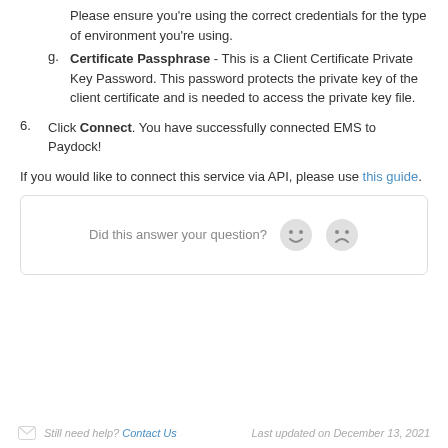Please ensure you're using the correct credentials for the type of environment you're using.
Certificate Passphrase - This is a Client Certificate Private Key Password. This password protects the private key of the client certificate and is needed to access the private key file.
Click Connect. You have successfully connected EMS to Paydock!
If you would like to connect this service via API, please use this guide.
[Figure (other): Feedback widget with 'Did this answer your question?' text and two smiley face emoji buttons (happy and sad)]
Still need help? Contact Us   Last updated on December 13, 2021